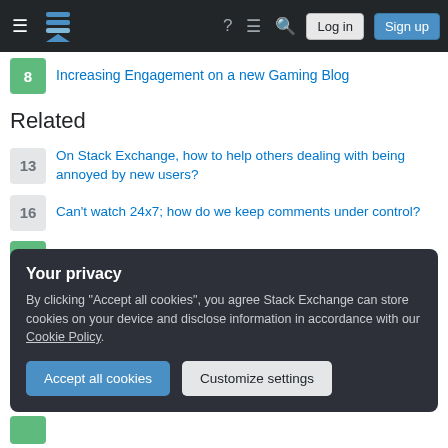Stack Exchange navigation bar with Log in and Sign up buttons
8 Increasing Engagement on a new Gaming Blog
Related
13 On Stack Exchange, how to help others dealing with being annoyed by new users?
16 Can't watch 24x7; how do we keep comments under control?
8 Increasing Engagement on a new Gaming Blog
13 As a user, how can I stay on top of a fast-growing community?
14 How to prevent new users from asking off-topic questions
Your privacy
By clicking "Accept all cookies", you agree Stack Exchange can store cookies on your device and disclose information in accordance with our Cookie Policy.
Accept all cookies  Customize settings